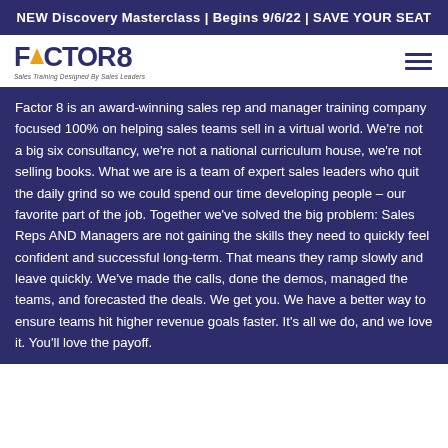NEW Discovery Masterclass | Begins 9/6/22 | SAVE YOUR SEAT
[Figure (logo): Factor 8 logo with triangle A and tagline 'Sales Training Designed by Sales Leaders']
Factor 8 is an award-winning sales rep and manager training company focused 100% on helping sales teams sell in a virtual world. We're not a big six consultancy, we're not a national curriculum house, we're not selling books. What we are is a team of expert sales leaders who quit the daily grind so we could spend our time developing people – our favorite part of the job. Together we've solved the big problem: Sales Reps AND Managers are not gaining the skills they need to quickly feel confident and successful long-term. That means they ramp slowly and leave quickly. We've made the calls, done the demos, managed the teams, and forecasted the deals. We get you. We have a better way to ensure teams hit higher revenue goals faster. It's all we do, and we love it. You'll love the payoff.